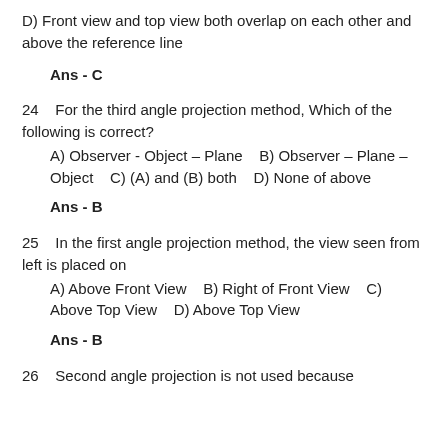D) Front view and top view both overlap on each other and above the reference line
Ans - C
24    For the third angle projection method, Which of the following is correct?
A) Observer - Object – Plane    B) Observer – Plane – Object    C) (A) and (B) both    D) None of above
Ans - B
25    In the first angle projection method, the view seen from left is placed on
A) Above Front View    B) Right of Front View    C) Above Top View    D) Above Top View
Ans - B
26    Second angle projection is not used because